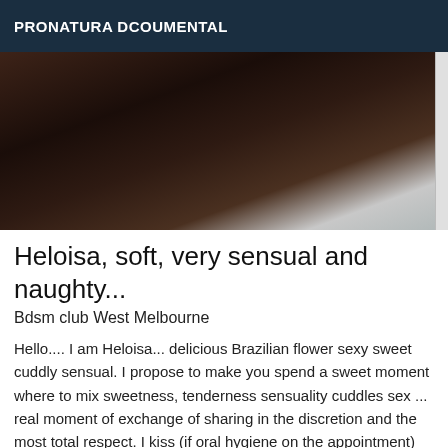PRONATURA DCOUMENTAL
[Figure (photo): Dark, dimly lit close-up photo, mostly dark brown and black tones with a light-colored pillow or surface visible on the right side. A scrollbar is visible on the far right edge.]
Heloisa, soft, very sensual and naughty...
Bdsm club West Melbourne
Hello.... I am Heloisa... delicious Brazilian flower sexy sweet cuddly sensual. I propose to make you spend a sweet moment where to mix sweetness, tenderness sensuality cuddles sex ... real moment of exchange of sharing in the discretion and the most total respect. I kiss (if oral hygiene on the appointment) Protected vaginal penetration. I do anal (a plus) not oral and facial